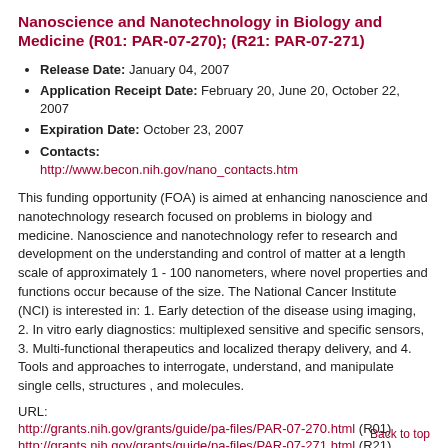Nanoscience and Nanotechnology in Biology and Medicine (R01: PAR-07-270); (R21: PAR-07-271)
Release Date: January 04, 2007
Application Receipt Date: February 20, June 20, October 22, 2007
Expiration Date: October 23, 2007
Contacts: http://www.becon.nih.gov/nano_contacts.htm
This funding opportunity (FOA) is aimed at enhancing nanoscience and nanotechnology research focused on problems in biology and medicine. Nanoscience and nanotechnology refer to research and development on the understanding and control of matter at a length scale of approximately 1 - 100 nanometers, where novel properties and functions occur because of the size. The National Cancer Institute (NCI) is interested in: 1. Early detection of the disease using imaging, 2. In vitro early diagnostics: multiplexed sensitive and specific sensors, 3. Multi-functional therapeutics and localized therapy delivery, and 4. Tools and approaches to interrogate, understand, and manipulate single cells, structures , and molecules.
URL:
http://grants.nih.gov/grants/guide/pa-files/PAR-07-270.html (R01)
http://grants.nih.gov/grants/guide/pa-files/PAR-07-271.html (R21)
Back to top